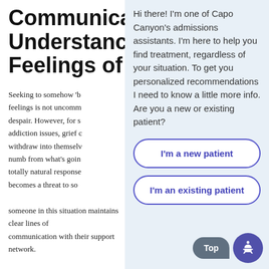Communicating & Understanding Feelings of
Seeking to somehow 'b... feelings is not uncomm... despair. However, for s... addiction issues, grief c... withdraw into themsel... numb from what's goin... totally natural response... becomes a threat to so... someone in this situation maintains clear lines of communication with their support network.
Hi there! I'm one of Capo Canyon's admissions assistants. I'm here to help you find treatment, regardless of your situation. To get you personalized recommendations I need to know a little more info. Are you a new or existing patient?
I'm a new patient
I'm an existing patient
Top